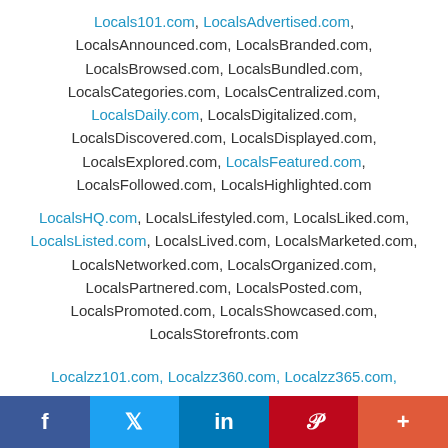Locals101.com, LocalsAdvertised.com, LocalsAnnounced.com, LocalsBranded.com, LocalsBrowsed.com, LocalsBundled.com, LocalsCategories.com, LocalsCentralized.com, LocalsDaily.com, LocalsDigitalized.com, LocalsDiscovered.com, LocalsDisplayed.com, LocalsExplored.com, LocalsFeatured.com, LocalsFollowed.com, LocalsHighlighted.com
LocalsHQ.com, LocalsLifestyled.com, LocalsLiked.com, LocalsListed.com, LocalsLived.com, LocalsMarketed.com, LocalsNetworked.com, LocalsOrganized.com, LocalsPartnered.com, LocalsPosted.com, LocalsPromoted.com, LocalsShowcased.com, LocalsStorefronts.com
Localzz101.com, Localzz360.com, Localzz365.com,
f  y  in  P  +